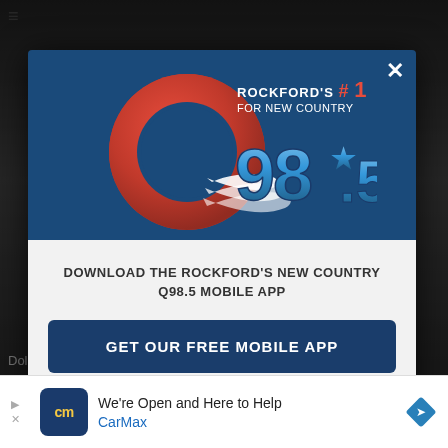[Figure (logo): Q98.5 radio station logo — large red Q with swoosh stripes, text reading ROCKFORD'S #1 FOR NEW COUNTRY, and 98.5 in blue gradient numerals on a dark blue background]
DOWNLOAD THE ROCKFORD'S NEW COUNTRY Q98.5 MOBILE APP
GET OUR FREE MOBILE APP
Also listen on:  amazon alexa
[Figure (infographic): Advertisement banner: CarMax logo with text 'We're Open and Here to Help' and 'CarMax' in blue, with a blue diamond navigation icon on the right]